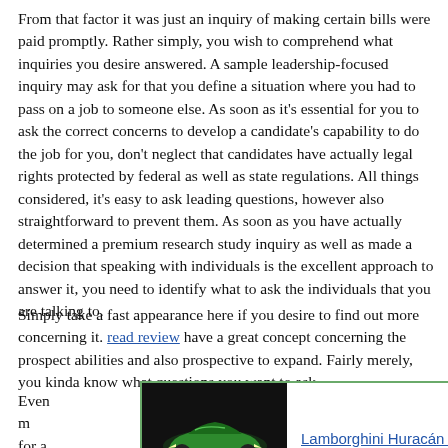From that factor it was just an inquiry of making certain bills were paid promptly. Rather simply, you wish to comprehend what inquiries you desire answered. A sample leadership-focused inquiry may ask for that you define a situation where you had to pass on a job to someone else. As soon as it's essential for you to ask the correct concerns to develop a candidate's capability to do the job for you, don't neglect that candidates have actually legal rights protected by federal as well as state regulations. All things considered, it's easy to ask leading questions, however also straightforward to prevent them. As soon as you have actually determined a premium research study inquiry as well as made a decision that speaking with individuals is the excellent approach to answer it, you need to identify what to ask the individuals that you are talking to.
Simply take a fast appearance here if you desire to find out more concerning it. read review have a great concept concerning the prospect abilities and also prospective to expand. Fairly merely, you kinda know what questions you want to ask.
Even more ... ance for a pre ... collect and orga ... e optimum option. You must finally have a checklist of proficiencies
[Figure (other): Advertisement overlay showing a green Lamborghini Huracán LP 61 car image on a black background with text link 'Lamborghini Huracán LP 61' in blue and a green arrow '>>' on the right, bordered in green.]